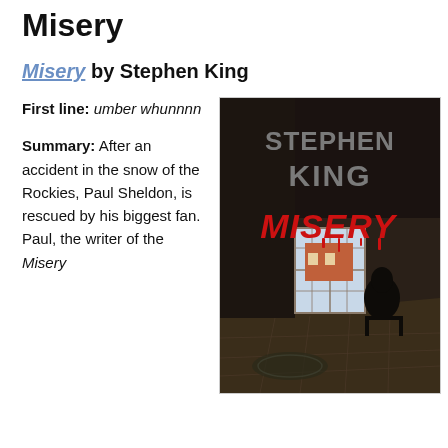Misery
Misery by Stephen King
First line: umber whunnnn
Summary: After an accident in the snow of the Rockies, Paul Sheldon, is rescued by his biggest fan. Paul, the writer of the Misery
[Figure (illustration): Book cover of Misery by Stephen King. Dark background with gray text reading STEPHEN KING at top, and red dripping text reading MISERY below. A dark silhouette of a person sits in a chair in a room with a window showing a red building outside.]